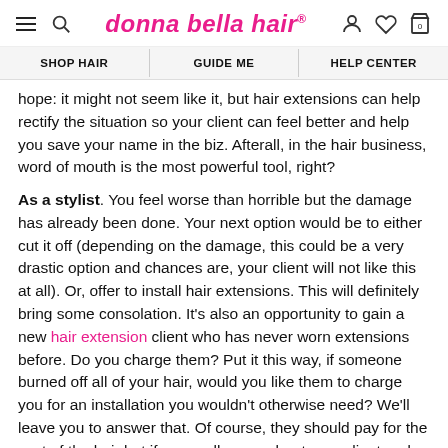donna bella hair
SHOP HAIR | GUIDE ME | HELP CENTER
hope: it might not seem like it, but hair extensions can help rectify the situation so your client can feel better and help you save your name in the biz. Afterall, in the hair business, word of mouth is the most powerful tool, right?
As a stylist. You feel worse than horrible but the damage has already been done. Your next option would be to either cut it off (depending on the damage, this could be a very drastic option and chances are, your client will not like this at all). Or, offer to install hair extensions. This will definitely bring some consolation. It's also an opportunity to gain a new hair extension client who has never worn extensions before. Do you charge them? Put it this way, if someone burned off all of your hair, would you like them to charge you for an installation you wouldn't otherwise need? We'll leave you to answer that. Of course, they should pay for the cost of the hair but if you really care about your client and your